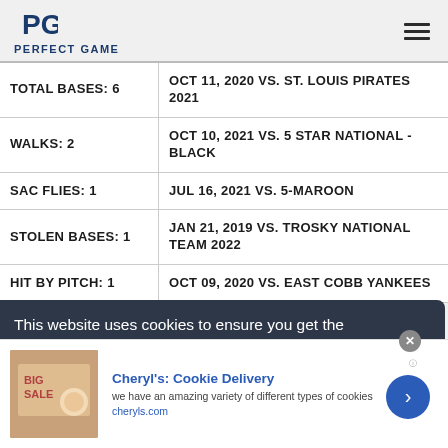PERFECT GAME
| Stat | Game |
| --- | --- |
| TOTAL BASES: 6 | OCT 11, 2020 VS. ST. LOUIS PIRATES 2021 |
| WALKS: 2 | OCT 10, 2021 VS. 5 STAR NATIONAL - BLACK |
| SAC FLIES: 1 | JUL 16, 2021 VS. 5-MAROON |
| STOLEN BASES: 1 | JAN 21, 2019 VS. TROSKY NATIONAL TEAM 2022 |
| HIT BY PITCH: 1 | OCT 09, 2020 VS. EAST COBB YANKEES |
This website uses cookies to ensure you get the
Cheryl's: Cookie Delivery
we have an amazing variety of different types of cookies
cheryls.com